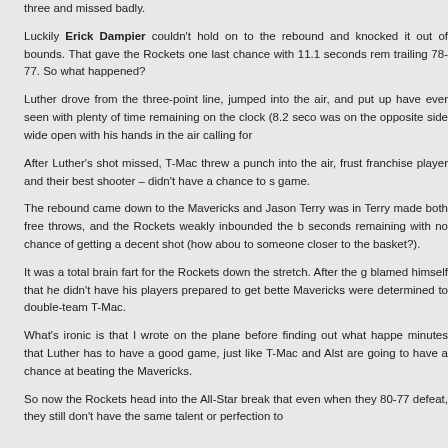three and missed badly.
Luckily Erick Dampier couldn't hold on to the rebound and knocked it out of bounds. That gave the Rockets one last chance with 11.1 seconds remaining, trailing 78-77. So what happened?
Luther drove from the three-point line, jumped into the air, and put up one of the worst shots I have ever seen with plenty of time remaining on the clock (8.2 seconds). T-Mac was on the opposite side wide open with his hands in the air calling for the ball.
After Luther's shot missed, T-Mac threw a punch into the air, frustrated that their franchise player and their best shooter – didn't have a chance to shoot to win the game.
The rebound came down to the Mavericks and Jason Terry was intentionally fouled. Terry made both free throws, and the Rockets weakly inbounded the ball with 3.5 seconds remaining with no chance of getting a decent shot (how about throwing it to someone closer to the basket?).
It was a total brain fart for the Rockets down the stretch. After the game, Jeff Van Gundy blamed himself that he didn't have his players prepared to get better shots and that the Mavericks were determined to double-team T-Mac.
What's ironic is that I wrote on the plane before finding out what happened in the final minutes that Luther has to have a good game, just like T-Mac and Alston, if the Rockets are going to have a chance at beating the Mavericks.
So now the Rockets head into the All-Star break that even when they pulled within one in a 80-77 defeat, they still don't have the same talent or perfection to beat the Mavericks without Yao.